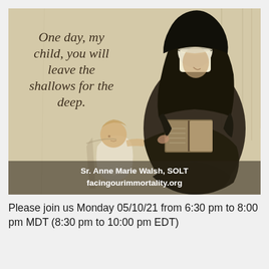[Figure (illustration): Pencil sketch illustration of a nun in dark habit reading a book, seated, with a small child standing beside her reaching up. Warm beige/tan background. Quote overlaid on upper left: 'One day, my child, you will leave the shallows for the deep.' Attribution text at bottom: 'Sr. Anne Marie Walsh, SOLT' and 'facingourimmortality.org']
Please join us Monday 05/10/21 from 6:30 pm to 8:00 pm MDT (8:30 pm to 10:00 pm EDT)